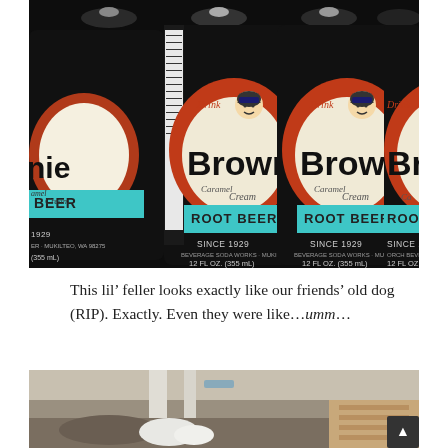[Figure (photo): Photo of multiple dark glass Brownie Caramel Cream Root Beer bottles (12 fl oz, 355 mL, Since 1929) arranged in a row, showing their retro oval labels with red, cream, and teal colors featuring a cartoon character.]
This lil’ feller looks exactly like our friends’ old dog (RIP). Exactly. Even they were like…umm…
[Figure (photo): Partial photo of an unidentifiable scene with pipes and structures, partially cut off at the bottom of the page.]